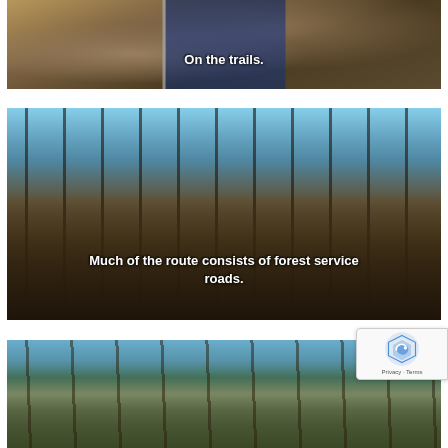[Figure (photo): Person on forest trail wearing blue running vest, close-up shot showing trail vegetation]
On the trails.
[Figure (photo): Forest service road through bare winter trees with blue sky, dark forest floor]
Much of the route consists of forest service roads.
[Figure (photo): Forest trail through pine/evergreen trees, partial view]